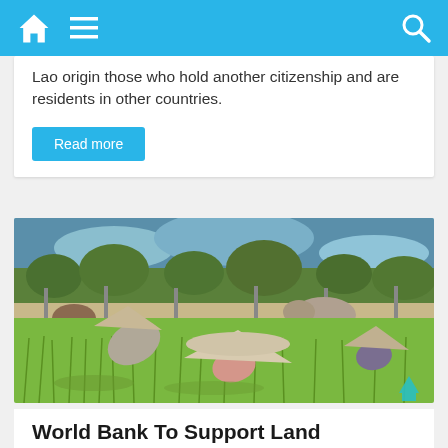Home Menu Search
Lao origin those who hold another citizenship and are residents in other countries.
Read more
[Figure (photo): Agricultural workers in conical hats bending over green rice paddy field, with water buffalo and trees visible in the background.]
World Bank To Support Land